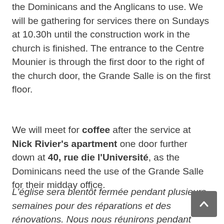the Dominicans and the Anglicans to use. We will be gathering for services there on Sundays at 10.30h until the construction work in the church is finished. The entrance to the Centre Mounier is through the first door to the right of the church door, the Grande Salle is on the first floor.
We will meet for coffee after the service at Nick Rivier's apartment one door further down at 40, rue die l'Université, as the Dominicans need the use of the Grande Salle for their midday office.
L'église sera bientôt fermée pendant plusieurs semaines pour des réparations et des rénovations. Nous nous réunirons pendant cette